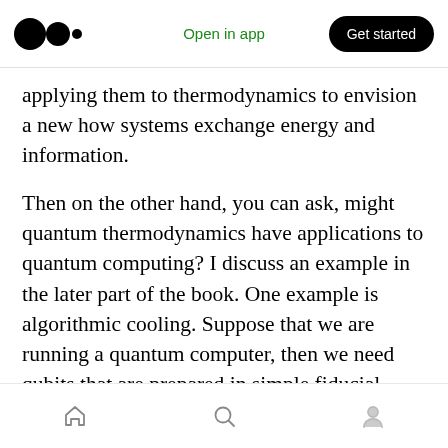Medium logo | Open in app | Get started
applying them to thermodynamics to envision a new how systems exchange energy and information.
Then on the other hand, you can ask, might quantum thermodynamics have applications to quantum computing? I discuss an example in the later part of the book. One example is algorithmic cooling. Suppose that we are running a quantum computer, then we need qubits that are prepared in simple fiducial states, which we often label as the zero state. And this state is often the ground state of the qubit's Hamiltonian. So in order to
Home | Search | Profile